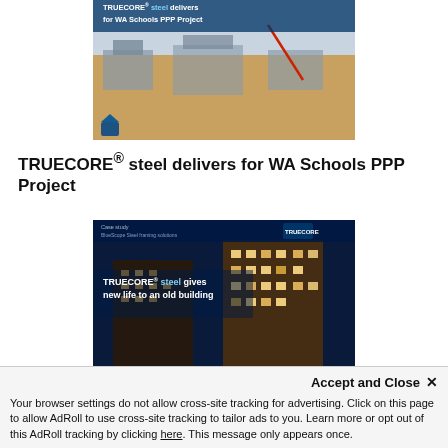[Figure (photo): Aerial/overhead photo of a construction site with orange earthworks and building structures under construction, with text overlay reading 'TRUECORE® steel delivers for WA Schools PPP Project']
TRUECORE® steel delivers for WA Schools PPP Project
[Figure (photo): Case study brochure cover showing a multi-storey modern building at night, with text overlay reading 'TRUECORE® steel gives new life to an old building' and logos for BlueScope and Truecore]
TRUECORE® steel gives new life to an old building
Accept and Close ✕
Your browser settings do not allow cross-site tracking for advertising. Click on this page to allow AdRoll to use cross-site tracking to tailor ads to you. Learn more or opt out of this AdRoll tracking by clicking here. This message only appears once.